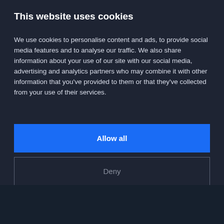This website uses cookies
We use cookies to personalise content and ads, to provide social media features and to analyse our traffic. We also share information about your use of our site with our social media, advertising and analytics partners who may combine it with other information that you've provided to them or that they've collected from your use of their services.
Allow all
Deny
Show details
About this game